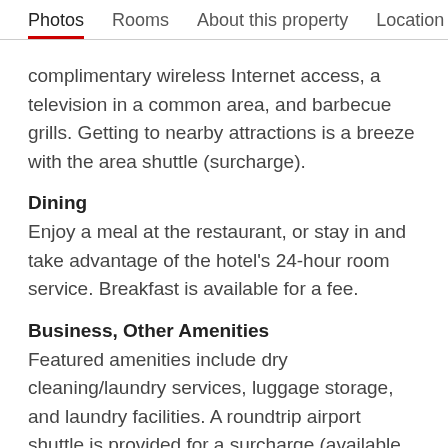Photos  Rooms  About this property  Location
complimentary wireless Internet access, a television in a common area, and barbecue grills. Getting to nearby attractions is a breeze with the area shuttle (surcharge).
Dining
Enjoy a meal at the restaurant, or stay in and take advantage of the hotel's 24-hour room service. Breakfast is available for a fee.
Business, Other Amenities
Featured amenities include dry cleaning/laundry services, luggage storage, and laundry facilities. A roundtrip airport shuttle is provided for a surcharge (available 24 hours), and free self parking is available onsite.